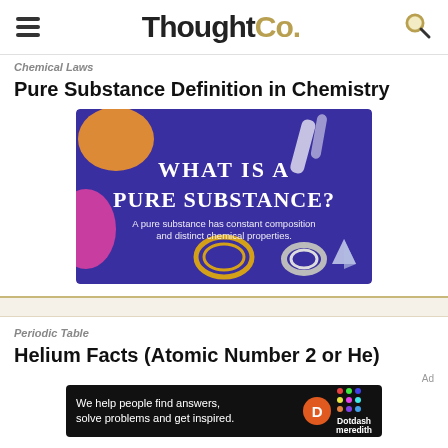ThoughtCo.
Chemical Laws
Pure Substance Definition in Chemistry
[Figure (illustration): Infographic on blue background with text 'WHAT IS A PURE SUBSTANCE?' and subtitle 'A pure substance has constant composition and distinct chemical properties.' with decorative elements including chains, crystals, and colorful splashes.]
Periodic Table
Helium Facts (Atomic Number 2 or He)
[Figure (other): Ad banner: 'We help people find answers, solve problems and get inspired.' with Dotdash Meredith logo]